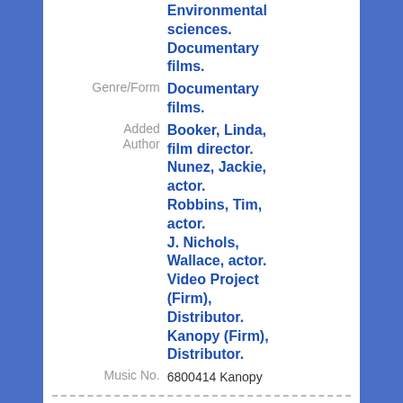Environmental sciences. Documentary films.
| Genre/Form | Documentary films. |
| Added Author | Booker, Linda, film director.
Nunez, Jackie, actor.
Robbins, Tim, actor.
J. Nichols, Wallace, actor.
Video Project (Firm), Distributor.
Kanopy (Firm), Distributor. |
| Music No. | 6800414 Kanopy |